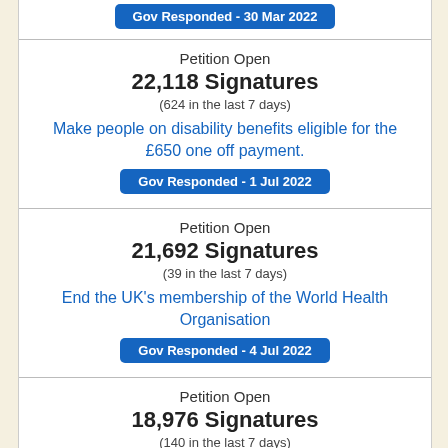Gov Responded - 30 Mar 2022
Petition Open
22,118 Signatures
(624 in the last 7 days)
Make people on disability benefits eligible for the £650 one off payment.
Gov Responded - 1 Jul 2022
Petition Open
21,692 Signatures
(39 in the last 7 days)
End the UK's membership of the World Health Organisation
Gov Responded - 4 Jul 2022
Petition Open
18,976 Signatures
(140 in the last 7 days)
Fund the drug bevacizumab (Avastin) on the NHS to treat colorectal cancer